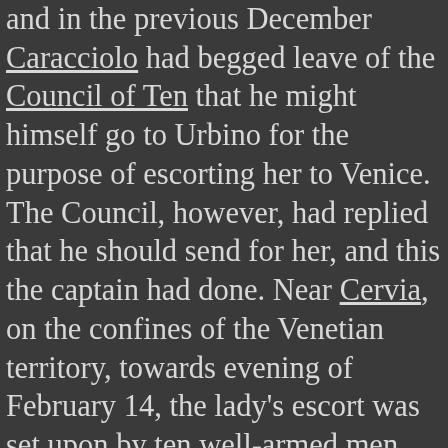and in the previous December Caracciolo had begged leave of the Council of Ten that he might himself go to Urbino for the purpose of escorting her to Venice. The Council, however, had replied that he should send for her, and this the captain had done. Near Cervia, on the confines of the Venetian territory, towards evening of February 14, the lady's escort was set upon by ten well-armed men, and rudely handled by them, some being wounded and one at least killed, whilst the lady and a woman who was with her were carried off.

The Podestá of Cervia reported to the Venetian Senate that the abductors were Spaniards of the army of the Duke of Valentinois, and it was feared in Venice—according to Sanuto— that the deed might be the work of Cesare…